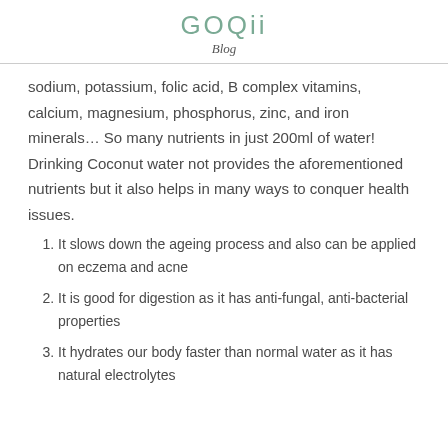GOQii
Blog
sodium, potassium, folic acid, B complex vitamins, calcium, magnesium, phosphorus, zinc, and iron minerals… So many nutrients in just 200ml of water! Drinking Coconut water not provides the aforementioned nutrients but it also helps in many ways to conquer health issues.
It slows down the ageing process and also can be applied on eczema and acne
It is good for digestion as it has anti-fungal, anti-bacterial properties
It hydrates our body faster than normal water as it has natural electrolytes